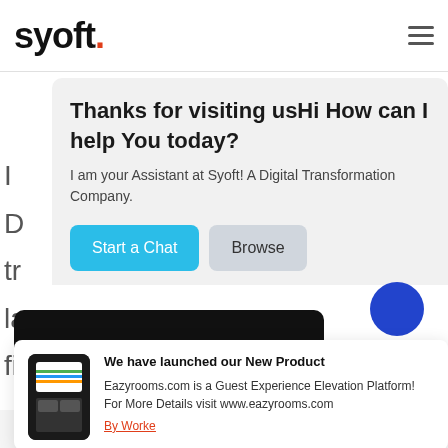[Figure (logo): Syoft logo in bold black text with orange dot after the period, and a hamburger menu icon on the right]
[Figure (screenshot): Chat widget overlay on website showing greeting message 'Thanks for visiting usHi How can I help You today?' with subtext 'I am your Assistant at Syoft! A Digital Transformation Company.' and two buttons: 'Start a Chat' (blue) and 'Browse' (gray)]
[Figure (infographic): Product notification popup: 'We have launched our New Product' - Eazyrooms.com is a Guest Experience Elevation Platform! For More Details visit www.eazyrooms.com. By Worke link shown below.]